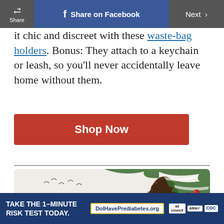Share | Share on Facebook | Next >
it chic and discreet with these waste-bag holders. Bonus: They attach to a keychain or leash, so you'll never accidentally leave home without them.
[Figure (other): Red 'Shop Now' button]
[Figure (photo): Holiday scene with pine cones, red berries, evergreen branches, plaid fabric, and birds in background]
ADVERTISEMENT
[Figure (other): Advertisement banner: TAKE THE 1-MINUTE RISK TEST TODAY. DolHavePrediabetes.org with ad council, AMA, and CDC logos]